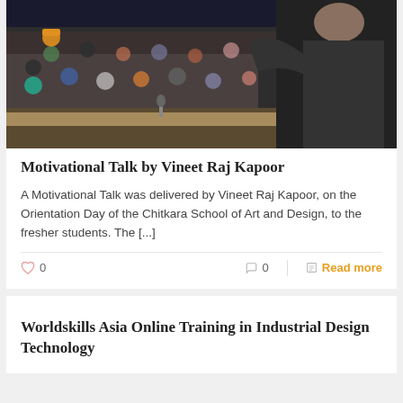[Figure (photo): A speaker (man in dark suit) at a podium addressing a large audience of students in an auditorium. The audience fills the background.]
Motivational Talk by Vineet Raj Kapoor
A Motivational Talk was delivered by Vineet Raj Kapoor, on the Orientation Day of the Chitkara School of Art and Design, to the fresher students. The [...]
♡ 0   💬 0   Read more
Worldskills Asia Online Training in Industrial Design Technology